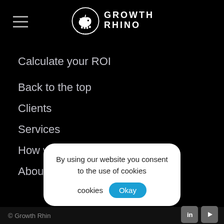[Figure (logo): Growth Rhino logo with rhino icon in a circle and GROWTH RHINO text]
Calculate your ROI
Back to the top
Clients
Services
How we work
About Us
© Growth Rhino
By using our website you consent to the use of cookies Okay